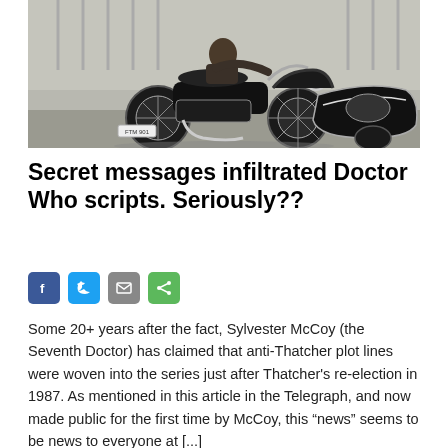[Figure (photo): Black and white or muted colour photograph of a person sitting on a vintage motorcycle with a sidecar, registration plate FTM 901, parked outdoors.]
Secret messages infiltrated Doctor Who scripts. Seriously??
[Figure (infographic): Social sharing icons: Facebook (blue), Twitter (blue), Email (grey), Share (green)]
Some 20+ years after the fact, Sylvester McCoy (the Seventh Doctor) has claimed that anti-Thatcher plot lines were woven into the series just after Thatcher’s re-election in 1987. As mentioned in this article in the Telegraph, and now made public for the first time by McCoy, this “news” seems to be news to everyone at [...]